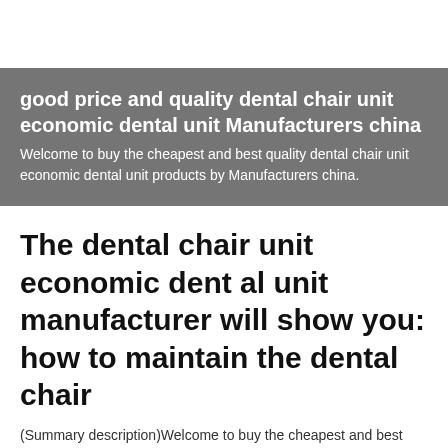good price and quality dental chair unit economic dental unit Manufacturers china
Welcome to buy the cheapest and best quality dental chair unit economic dental unit products by Manufacturers china.
The dental chair unit economic dental unit manufacturer will show you: how to maintain the dental chair
(Summary description)Welcome to buy the cheapest and best quality dental chair unit economic dental unit products by Manufacturers china.
Categories:Dental chair unit economic dental unit
Author:
Origin:
Time of issue:2021-03-25 14:29